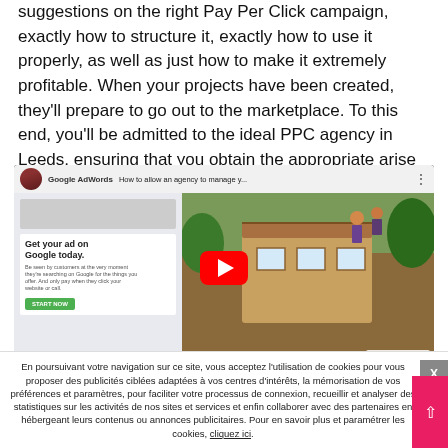suggestions on the right Pay Per Click campaign, exactly how to structure it, exactly how to use it properly, as well as just how to make it extremely profitable. When your projects have been created, they'll prepare to go out to the marketplace. To this end, you'll be admitted to the ideal PPC agency in Leeds, ensuring that you obtain the appropriate arise from every campaign.
[Figure (screenshot): YouTube video thumbnail showing Google AdWords tutorial titled 'How to allow an agency to manage y...' with a split view: left side shows Google AdWords UI with 'Get your ad on Google today.' text and a green START NOW button; right side shows a photo of people working on a treehouse. A large red YouTube play button is centered over the image.]
En poursuivant votre navigation sur ce site, vous acceptez l'utilisation de cookies pour vous proposer des publicités ciblées adaptées à vos centres d'intérêts, la mémorisation de vos préférences et paramètres, pour faciliter votre processus de connexion, recueillir et analyser des statistiques sur les activités de nos sites et services et enfin collaborer avec des partenaires en hébergeant leurs contenus ou annonces publicitaires. Pour en savoir plus et paramétrer les cookies, cliquez ici.